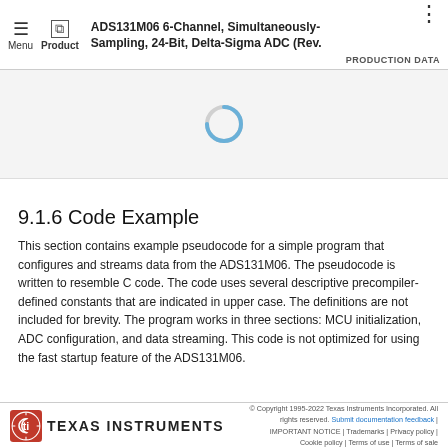ADS131M06 6-Channel, Simultaneously-Sampling, 24-Bit, Delta-Sigma ADC (Rev.  PRODUCTION DATA
[Figure (other): Loading spinner (circular progress indicator) shown in a light gray area, indicating content is loading.]
9.1.6 Code Example
This section contains example pseudocode for a simple program that configures and streams data from the ADS131M06. The pseudocode is written to resemble C code. The code uses several descriptive precompiler-defined constants that are indicated in upper case. The definitions are not included for brevity. The program works in three sections: MCU initialization, ADC configuration, and data streaming. This code is not optimized for using the fast startup feature of the ADS131M06.
© Copyright 1995-2022 Texas Instruments Incorporated. All rights reserved. Submit documentation feedback | IMPORTANT NOTICE | Trademarks | Privacy policy | Cookie policy | Terms of use | Terms of sale